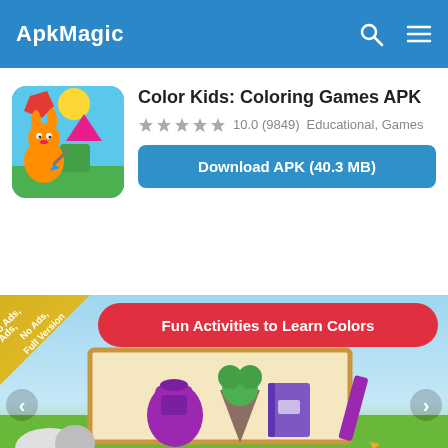ApkMagic
[Figure (screenshot): Color Kids Coloring Games app icon - cartoon rabbit with colorful geometric shapes on blue background]
Color Kids: Coloring Games APK
10.0 (9849)  Educational, Games
Download APK (40.3 MB)
[Figure (screenshot): App screenshot showing Fun Activities to Learn Colors with coloring book items: backpack, ice cream, book, pencil on colorful background. No Ads Full Version banner in corner.]